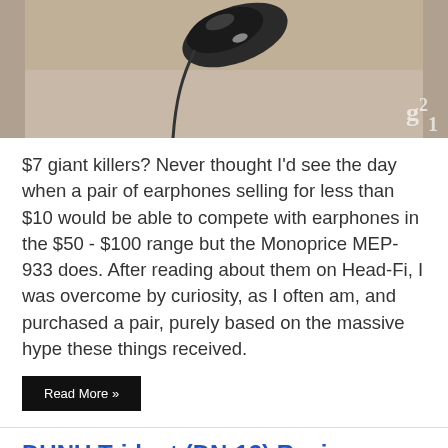[Figure (photo): Close-up photo of earphones/in-ear monitors on a light surface, with a watermark logo 'G1' or 'G21' in the bottom right corner]
$7 giant killers? Never thought I'd see the day when a pair of earphones selling for less than $10 would be able to compete with earphones in the $50 - $100 range but the Monoprice MEP- 933 does. After reading about them on Head-Fi, I was overcome by curiosity, as I often am, and purchased a pair, purely based on the massive hype these things received.
Read More »
DUNU Trident (DN-12) Review
August 12, 2011   In Ear Monitors, Reviews   0 Comments